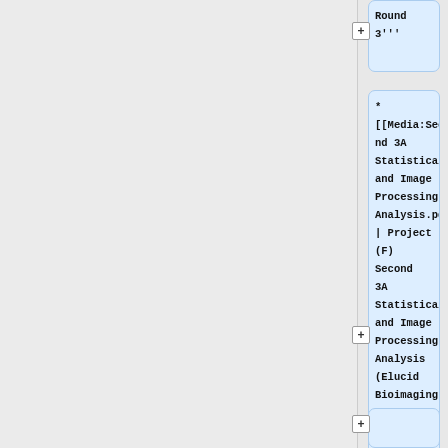Round 3'''
* [[Media:Second 3A Statistical and Image Processing Analysis.pdf | Project (F) Second 3A Statistical and Image Processing Analysis (Elucid Bioimaging Inc.)]]